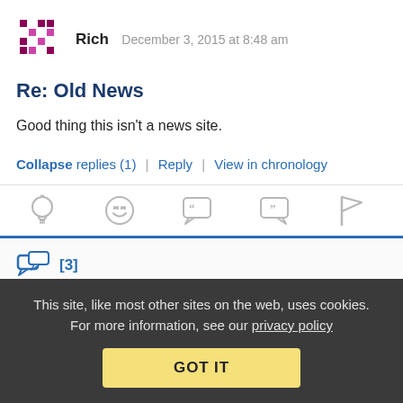Rich   December 3, 2015 at 8:48 am
Re: Old News
Good thing this isn't a news site.
Collapse replies (1)  |  Reply  |  View in chronology
[Figure (infographic): Row of 5 comment action icons: lightbulb (insight), laughing emoji (funny), open-quote speech bubble, close-quote speech bubble, flag]
[3]
This site, like most other sites on the web, uses cookies. For more information, see our privacy policy
GOT IT